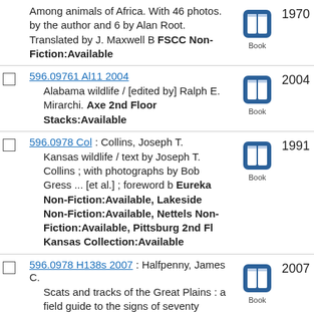Among animals of Africa. With 46 photos. by the author and 6 by Alan Root. Translated by J. Maxwell B FSCC Non-Fiction:Available